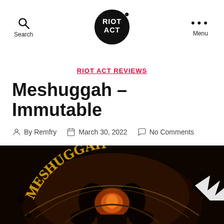Search | RIOT ACT | Menu
RIOT ACT REVIEWS
Meshuggah – Immutable
By Remfry  March 30, 2022  No Comments
[Figure (photo): Meshuggah Immutable album cover art — dark skull imagery with ornate golden lettering spelling MESHUGGAH on a dark background]